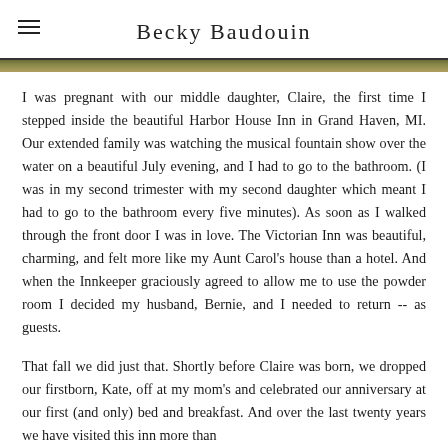Becky Baudouin
I was pregnant with our middle daughter, Claire, the first time I stepped inside the beautiful Harbor House Inn in Grand Haven, MI. Our extended family was watching the musical fountain show over the water on a beautiful July evening, and I had to go to the bathroom. (I was in my second trimester with my second daughter which meant I had to go to the bathroom every five minutes). As soon as I walked through the front door I was in love. The Victorian Inn was beautiful, charming, and felt more like my Aunt Carol's house than a hotel. And when the Innkeeper graciously agreed to allow me to use the powder room I decided my husband, Bernie, and I needed to return -- as guests.
That fall we did just that. Shortly before Claire was born, we dropped our firstborn, Kate, off at my mom's and celebrated our anniversary at our first (and only) bed and breakfast. And over the last twenty years we have visited this inn more than